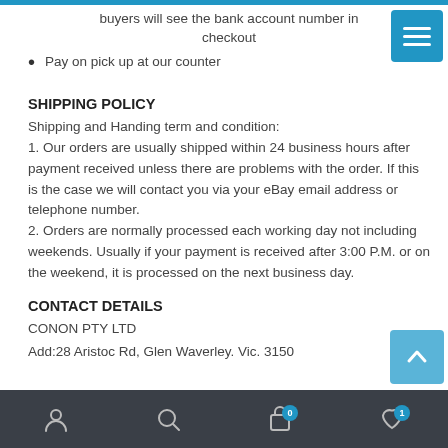buyers will see the bank account number in checkout
Pay on pick up at our counter
SHIPPING POLICY
Shipping and Handing term and condition:
1. Our orders are usually shipped within 24 business hours after payment received unless there are problems with the order. If this is the case we will contact you via your eBay email address or telephone number.
2. Orders are normally processed each working day not including weekends. Usually if your payment is received after 3:00 P.M. or on the weekend, it is processed on the next business day.
CONTACT DETAILS
CONON PTY LTD
Add:28 Aristoc Rd, Glen Waverley. Vic. 3150